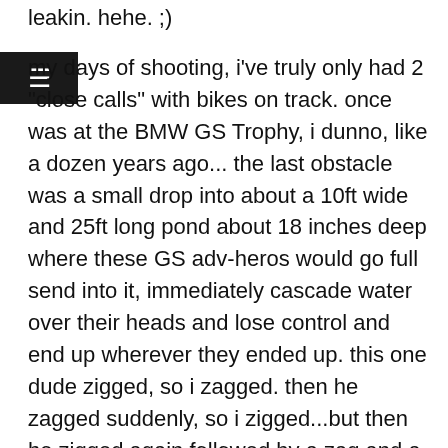leakin. hehe. ;)
my days of shooting, i've truly only had 2 "close calls" with bikes on track. once was at the BMW GS Trophy, i dunno, like a dozen years ago... the last obstacle was a small drop into about a 10ft wide and 25ft long pond about 18 inches deep where these GS adv-heros would go full send into it, immediately cascade water over their heads and lose control and end up wherever they ended up. this one dude zigged, so i zagged. then he zagged suddenly, so i zigged...but then he zigged again followed by a zag and a zig that i could no longer tell which way he was gonna come out, so i just stopped moving entirely and awaited his arrival. he spat out directly at me and i had to high jump over his bike at about 15-20mph. luckily, this white boy CAN jump.
the other close call i never saw coming. supermoto races circa 2006, and i was shooting back shots in a 180 degree right hand hairpin. my right side is my blind side, even though i shoot